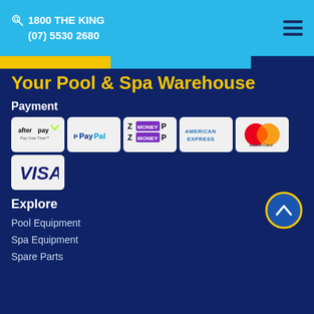1800 THE KING
(07) 5530 2680
Your Pool & Spa Warehouse
Payment
[Figure (logo): Payment method logos: Afterpay, PayPal, Zip Money, American Express, Mastercard, Visa]
Explore
Pool Equipment
Spa Equipment
Spare Parts